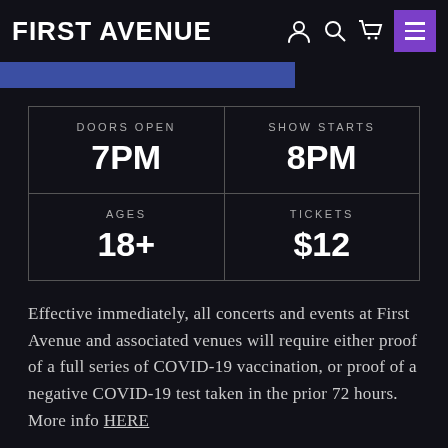FIRST AVENUE
| DOORS OPEN | SHOW STARTS |
| --- | --- |
| 7PM | 8PM |
| AGES 18+ | TICKETS $12 |
Effective immediately, all concerts and events at First Avenue and associated venues will require either proof of a full series of COVID-19 vaccination, or proof of a negative COVID-19 test taken in the prior 72 hours. More info HERE